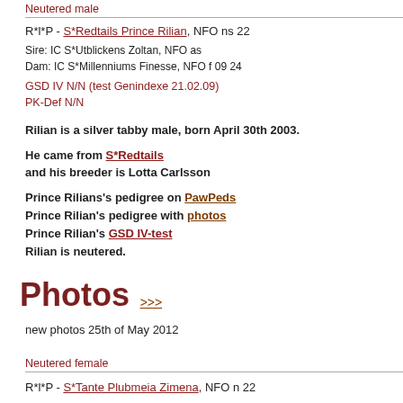Neutered male
R*l*P - S*Redtails Prince Rilian, NFO ns 22
Sire: IC S*Utblickens Zoltan, NFO as
Dam: IC S*Millenniums Finesse, NFO f 09 24
GSD IV N/N (test Genindexe 21.02.09)
PK-Def N/N
Rilian is a silver tabby male, born April 30th 2003.
He came from S*Redtails and his breeder is Lotta Carlsson
Prince Rilians's pedigree on PawPeds
Prince Rilian's pedigree with photos
Prince Rilian's GSD IV-test
Rilian is neutered.
Photos >>>
new photos 25th of May 2012
Neutered female
R*l*P - S*Tante Plubmeia Zimena, NFO n 22